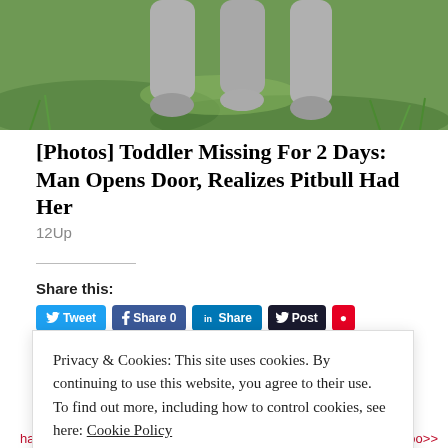[Figure (photo): Close-up photo of a dog's paws and legs standing on grass]
[Photos] Toddler Missing For 2 Days: Man Opens Door, Realizes Pitbull Had Her
12Up
Share this:
[Figure (screenshot): Social share buttons: Tweet, Share, Share, Post, and one more]
Privacy & Cookies: This site uses cookies. By continuing to use this website, you agree to their use. To find out more, including how to control cookies, see here: Cookie Policy
Close and accept
harassments …
modern families too>>